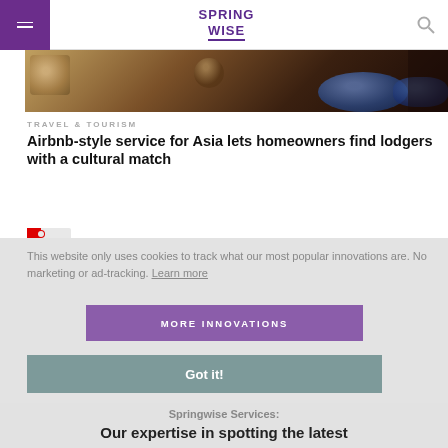SPRINGWISE
[Figure (photo): Interior scene showing a dark wooden coffee table with decorative blue and white ceramic bowls and objects on top, blurred background with furniture]
TRAVEL & TOURISM
Airbnb-style service for Asia lets homeowners find lodgers with a cultural match
This website only uses cookies to track what our most popular innovations are. No marketing or ad-tracking. Learn more
MORE INNOVATIONS
Got it!
Springwise Services:
Our expertise in spotting the latest